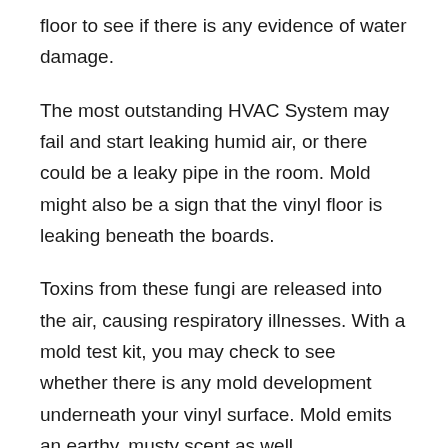floor to see if there is any evidence of water damage.
The most outstanding HVAC System may fail and start leaking humid air, or there could be a leaky pipe in the room. Mold might also be a sign that the vinyl floor is leaking beneath the boards.
Toxins from these fungi are released into the air, causing respiratory illnesses. With a mold test kit, you may check to see whether there is any mold development underneath your vinyl surface. Mold emits an earthy, musty scent as well.
Removing a few vinyl planks from a concrete subfloor can allow you to see whether there is any moisture present. Tools can be used to conduct tests.